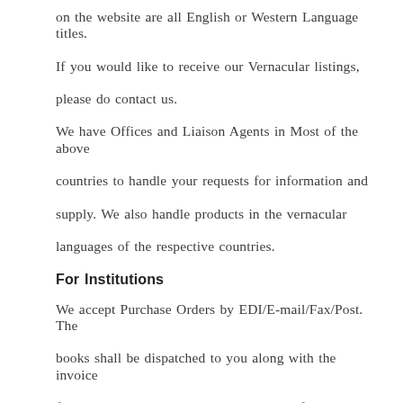on the website are all English or Western Language titles.
If you would like to receive our Vernacular listings, please do contact us.
We have Offices and Liaison Agents in Most of the above countries to handle your requests for information and supply. We also handle products in the vernacular languages of the respective countries.
For Institutions
We accept Purchase Orders by EDI/E-mail/Fax/Post. The books shall be dispatched to you along with the invoice for payment. You can make the payment after receipt of